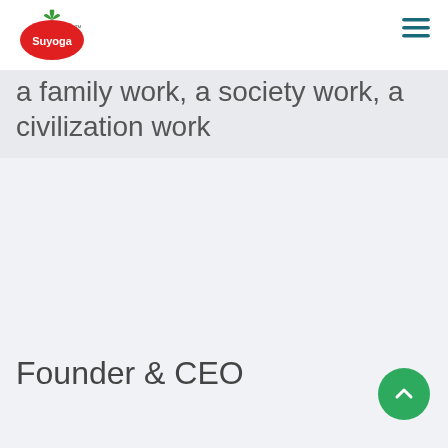Suyoga
a family work, a society work, a civilization work
Founder & CEO